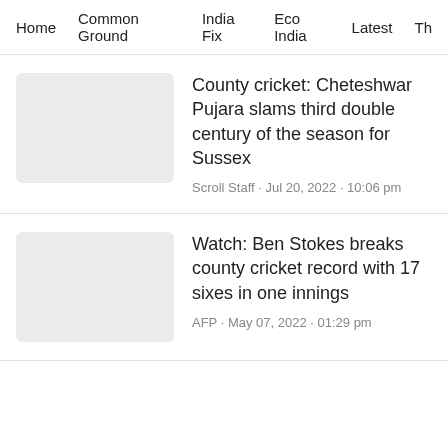Home · Common Ground · India Fix · Eco India · Latest · Th
[Figure (photo): Placeholder thumbnail image (light gray rectangle)]
County cricket: Cheteshwar Pujara slams third double century of the season for Sussex
Scroll Staff · Jul 20, 2022 · 10:06 pm
[Figure (photo): Placeholder thumbnail image (light gray rectangle)]
Watch: Ben Stokes breaks county cricket record with 17 sixes in one innings
AFP · May 07, 2022 · 01:29 pm